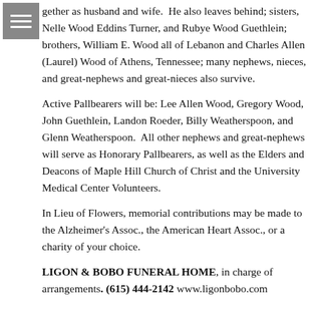gether as husband and wife.  He also leaves behind; sisters, Nelle Wood Eddins Turner, and Rubye Wood Guethlein; brothers, William E. Wood all of Lebanon and Charles Allen (Laurel) Wood of Athens, Tennessee; many nephews, nieces, and great-nephews and great-nieces also survive.
Active Pallbearers will be: Lee Allen Wood, Gregory Wood, John Guethlein, Landon Roeder, Billy Weatherspoon, and Glenn Weatherspoon.  All other nephews and great-nephews will serve as Honorary Pallbearers, as well as the Elders and Deacons of Maple Hill Church of Christ and the University Medical Center Volunteers.
In Lieu of Flowers, memorial contributions may be made to the Alzheimer's Assoc., the American Heart Assoc., or a charity of your choice.
LIGON & BOBO FUNERAL HOME, in charge of arrangements. (615) 444-2142 www.ligonbobo.com